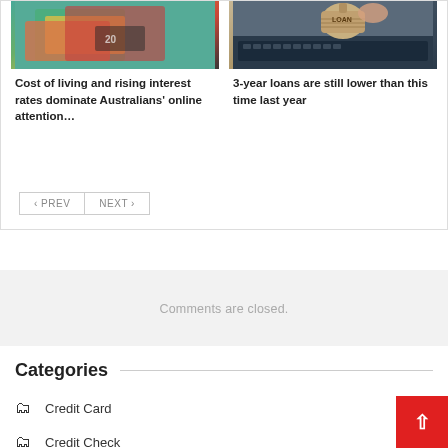[Figure (photo): Australian banknotes (money) with scissors visible]
Cost of living and rising interest rates dominate Australians' online attention…
[Figure (photo): A burlap bag labeled LOAN sitting on a laptop keyboard]
3-year loans are still lower than this time last year
< PREV   NEXT >
Comments are closed.
Categories
Credit Card
Credit Check